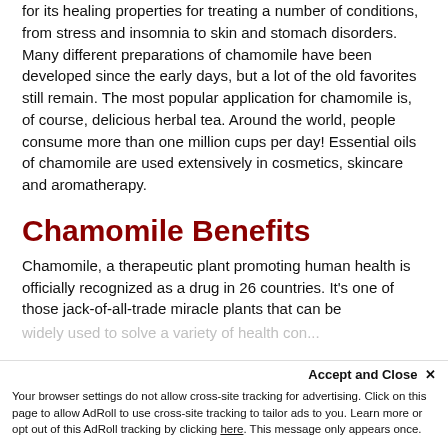for its healing properties for treating a number of conditions, from stress and insomnia to skin and stomach disorders. Many different preparations of chamomile have been developed since the early days, but a lot of the old favorites still remain. The most popular application for chamomile is, of course, delicious herbal tea. Around the world, people consume more than one million cups per day! Essential oils of chamomile are used extensively in cosmetics, skincare and aromatherapy.
Chamomile Benefits
Chamomile, a therapeutic plant promoting human health is officially recognized as a drug in 26 countries. It's one of those jack-of-all-trade miracle plants that can be widely used to solve a variety of health con...
Accept and Close ×
Your browser settings do not allow cross-site tracking for advertising. Click on this page to allow AdRoll to use cross-site tracking to tailor ads to you. Learn more or opt out of this AdRoll tracking by clicking here. This message only appears once.